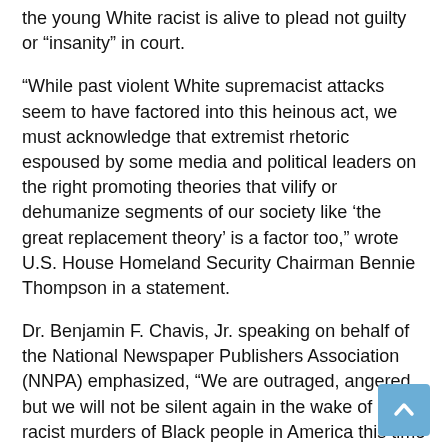the young White racist is alive to plead not guilty or “insanity” in court.
“While past violent White supremacist attacks seem to have factored into this heinous act, we must acknowledge that extremist rhetoric espoused by some media and political leaders on the right promoting theories that vilify or dehumanize segments of our society like ‘the great replacement theory’ is a factor too,” wrote U.S. House Homeland Security Chairman Bennie Thompson in a statement.
Dr. Benjamin F. Chavis, Jr. speaking on behalf of the National Newspaper Publishers Association (NNPA) emphasized, “We are outraged, angered, but we will not be silent again in the wake of more racist murders of Black people in America this time in Buffalo, New York.
“The patterns and rising tide of these White supremacists’ attacks and murders of our people will not go without the